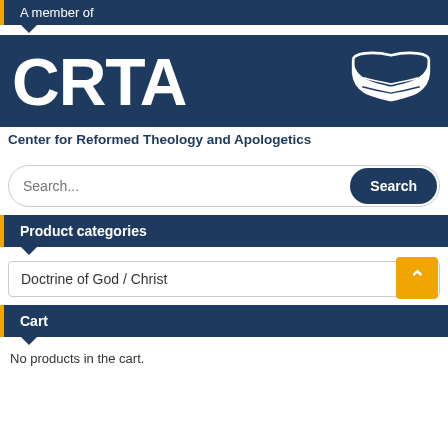A member of
[Figure (logo): CRTA logo with open book icon and tagline 'Center for Reformed Theology and Apologetics']
Center for Reformed Theology and Apologetics
Product categories
Doctrine of God / Christ
Cart
No products in the cart.